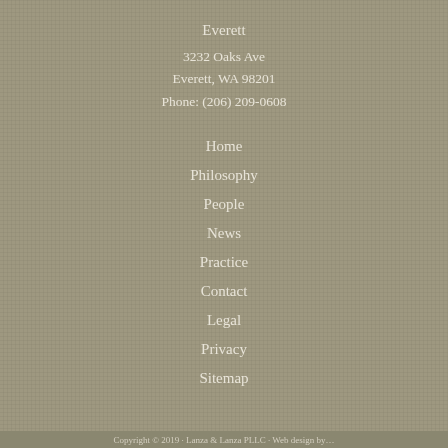Everett
3232 Oaks Ave
Everett, WA 98201
Phone: (206) 209-0608
Home
Philosophy
People
News
Practice
Contact
Legal
Privacy
Sitemap
Copyright © 2019 · Lanza & Lanza PLLC · Web design by…